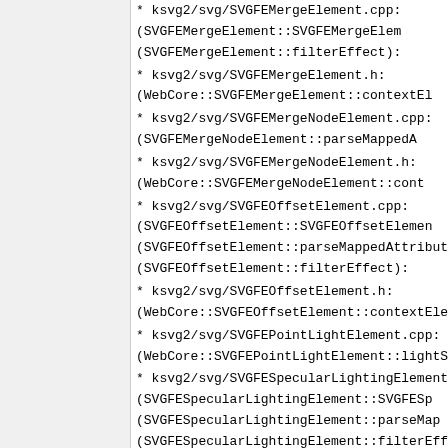* ksvg2/svg/SVGFEMergeElement.cpp: (SVGFEMergeElement::SVGFEMergeElement): (SVGFEMergeElement::filterEffect):
* ksvg2/svg/SVGFEMergeElement.h: (WebCore::SVGFEMergeElement::contextElement):
* ksvg2/svg/SVGFEMergeNodeElement.cpp: (SVGFEMergeNodeElement::parseMappedAttribute):
* ksvg2/svg/SVGFEMergeNodeElement.h: (WebCore::SVGFEMergeNodeElement::contextElement):
* ksvg2/svg/SVGFEOffsetElement.cpp: (SVGFEOffsetElement::SVGFEOffsetElement): (SVGFEOffsetElement::parseMappedAttribute): (SVGFEOffsetElement::filterEffect):
* ksvg2/svg/SVGFEOffsetElement.h: (WebCore::SVGFEOffsetElement::contextElement):
* ksvg2/svg/SVGFEPointLightElement.cpp: (WebCore::SVGFEPointLightElement::lightSource):
* ksvg2/svg/SVGFESpecularLightingElement.cpp: (SVGFESpecularLightingElement::SVGFESpecularLightingElement): (SVGFESpecularLightingElement::parseMappedAttribute): (SVGFESpecularLightingElement::filterEffect):
* ksvg2/svg/SVGFESpecularLightingElement.h: (WebCore::SVGFESpecularLightingElement::contextElement):
* ksvg2/svg/SVGFESpotLightElement.cpp: (WebCore::SVGFESpotLightElement::lightSource):
* ksvg2/svg/SVGFETileElement.cpp: (SVGFETileElement::parseMappedAttribute): (SVGFETileElement::filterEffect):
* ksvg2/svg/SVGFETileElement.h: (WebCore::SVGFETileElement::contextElement):